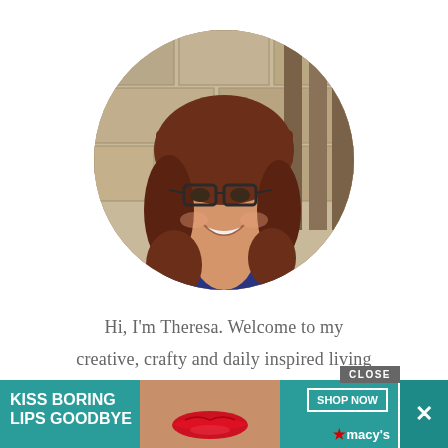[Figure (photo): Circular cropped portrait photo of a smiling woman with reddish-brown hair and glasses, wearing a blue shirt with a necklace, posed in front of a light stone wall.]
Hi, I'm Theresa. Welcome to my
creative, crafty and daily inspired living
[Figure (infographic): Advertisement banner with teal background. Left side shows 'KISS BORING LIPS GOODBYE' in white bold text. Center shows a woman's face with red lips. Right side shows a 'SHOP NOW' button and the Macy's star logo. A 'CLOSE' button appears in the top right and an X close button on the far right.]